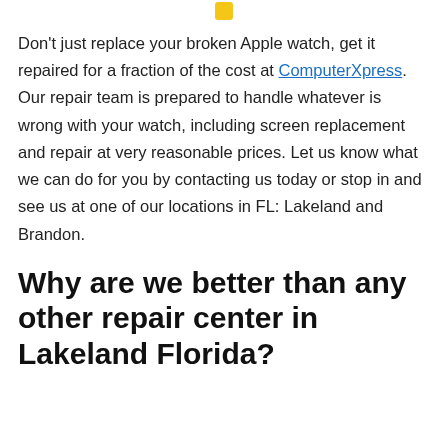[Figure (logo): Small yellow/gold square logo icon at top center]
Don't just replace your broken Apple watch, get it repaired for a fraction of the cost at ComputerXpress. Our repair team is prepared to handle whatever is wrong with your watch, including screen replacement and repair at very reasonable prices. Let us know what we can do for you by contacting us today or stop in and see us at one of our locations in FL: Lakeland and Brandon.
Why are we better than any other repair center in Lakeland Florida?
[Figure (screenshot): UI widget area showing a green phone call button with text 'No Appointment Needed!' and below it '30 Minute Screen Repairs While you wait!']